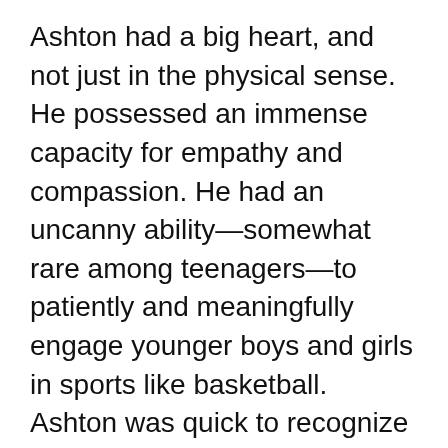Ashton had a big heart, and not just in the physical sense. He possessed an immense capacity for empathy and compassion. He had an uncanny ability—somewhat rare among teenagers—to patiently and meaningfully engage younger boys and girls in sports like basketball. Ashton was quick to recognize positive traits and laud others' successes and was not hesitant to offer sincere and heartfelt compliments to family and friends.
The world was a fascinating place for Ashton and he was naturally inquisitive and open to new experiences and adventures. Rather than limit his interests simply to sports, Ashton enjoyed learning to play the piano and